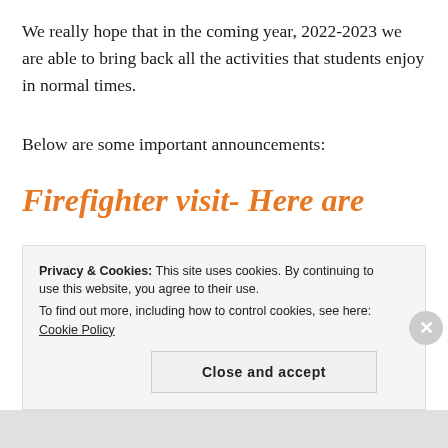We really hope that in the coming year, 2022-2023 we are able to bring back all the activities that students enjoy in normal times.
Below are some important announcements:
Firefighter visit- Here are
Privacy & Cookies: This site uses cookies. By continuing to use this website, you agree to their use. To find out more, including how to control cookies, see here: Cookie Policy
Close and accept